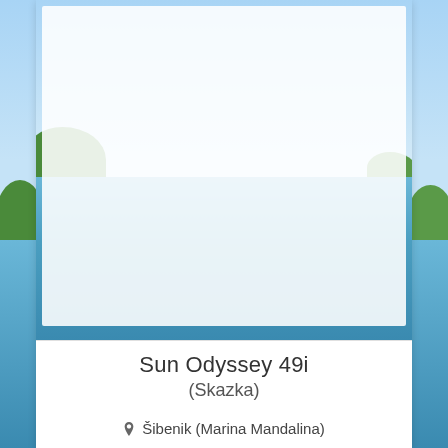[Figure (photo): Coastal Mediterranean scene with blue sky, green tree-covered island, and calm blue sea water]
Sun Odyssey 49i
(Skazka)
Šibenik (Marina Mandalina)